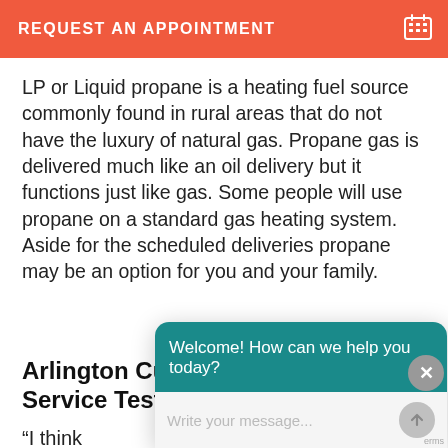REQUEST AN APPOINTMENT
LP or Liquid propane is a heating fuel source commonly found in rural areas that do not have the luxury of natural gas. Propane gas is delivered much like an oil delivery but it functions just like gas. Some people will use propane on a standard gas heating system. Aside for the scheduled deliveries propane may be an option for you and your family.
Arlington Customer Heating Service Testi[monials]
“I think [... text obscured by chat widget ...] that we [...] that we [...] 128 is plumber too! I guess my husband doesn’t
[Figure (screenshot): Chat widget overlay with teal header reading 'Welcome! How can we help you today?' and a text input area with placeholder 'Write your message...' and a send button. A grey close (X) circle button appears at the top right.]